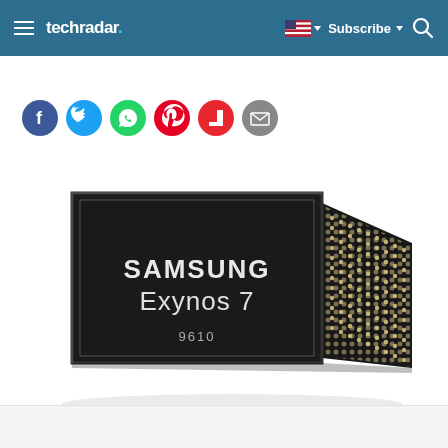techradar | Subscribe
[Figure (screenshot): Social share icons row: Facebook (blue), Twitter (light blue), WhatsApp (green), Pinterest (red), Flipboard (red), Email (grey)]
[Figure (photo): Samsung Exynos 7 9610 processor chip shown in 3D perspective view with black top surface showing SAMSUNG Exynos 7 9610 text, and side showing gold ball grid array (BGA) solder dots pattern]